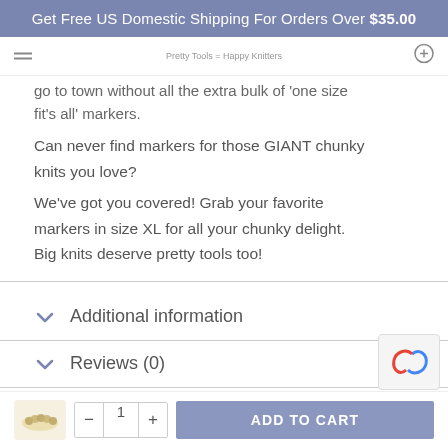Get Free US Domestic Shipping For Orders Over $35.00
go to town without all the extra bulk of 'one size fit's all' markers.
Can never find markers for those GIANT chunky knits you love? We've got you covered! Grab your favorite markers in size XL for all your chunky delight. Big knits deserve pretty tools too!
Additional information
Reviews (0)
RELATED PRODUCTS